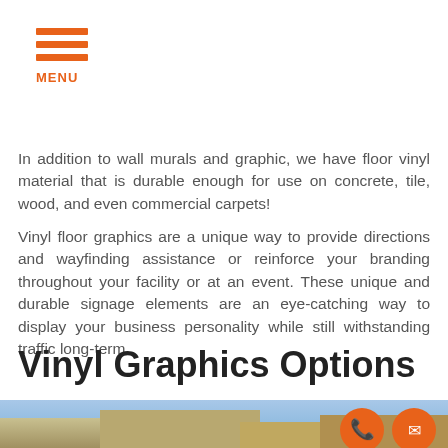MENU
In addition to wall murals and graphic, we have floor vinyl material that is durable enough for use on concrete, tile, wood, and even commercial carpets!
Vinyl floor graphics are a unique way to provide directions and wayfinding assistance or reinforce your branding throughout your facility or at an event. These unique and durable signage elements are an eye-catching way to display your business personality while still withstanding traffic long-term.
Vinyl Graphics Options
[Figure (photo): Exterior building photo partially visible at the bottom of the page, with orange circular phone and email contact buttons overlaid in the bottom right corner.]